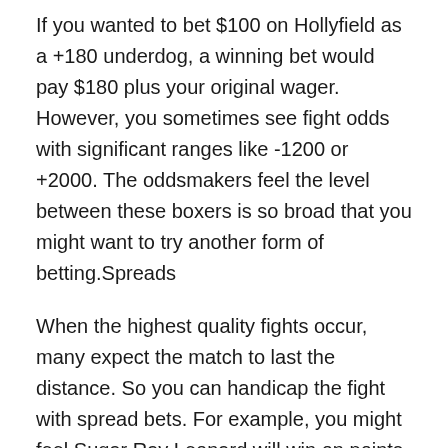If you wanted to bet $100 on Hollyfield as a +180 underdog, a winning bet would pay $180 plus your original wager. However, you sometimes see fight odds with significant ranges like -1200 or +2000. The oddsmakers feel the level between these boxers is so broad that you might want to try another form of betting.Spreads
When the highest quality fights occur, many expect the match to last the distance. So you can handicap the fight with spread bets. For example, you might feel Sugar Ray Leonard will win on points against Roberto Duran.
Oddsmakers set the spread at -3.5 to win the fight. As the favorite, Leonard would need to outscore Duran by four points or more to win the bet. In a twelve-round fight, a